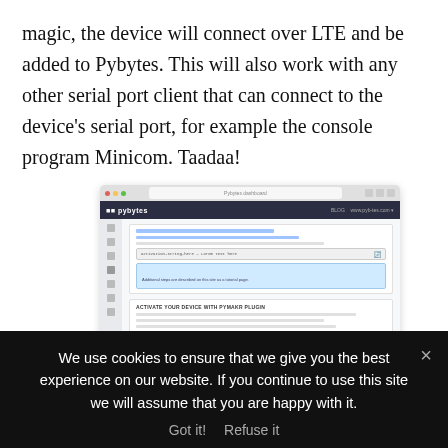magic, the device will connect over LTE and be added to Pybytes. This will also work with any other serial port client that can connect to the device's serial port, for example the console program Minicom. Taadaa!
[Figure (screenshot): Screenshot of the Pybytes web interface showing firmware update steps and a 'Activate your device with Pymakr plugin' section with activation string input fields and an activation device box outlined in red.]
We use cookies to ensure that we give you the best experience on our website. If you continue to use this site we will assume that you are happy with it.
Got it!  Refuse it